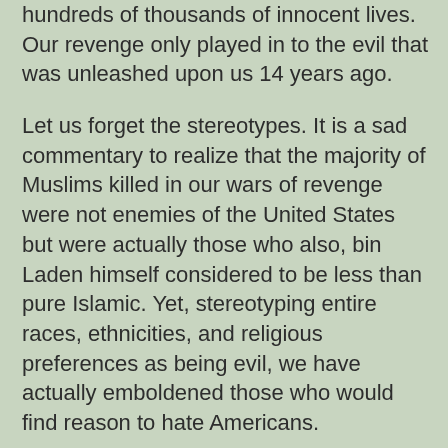hundreds of thousands of innocent lives. Our revenge only played in to the evil that was unleashed upon us 14 years ago.
Let us forget the stereotypes. It is a sad commentary to realize that the majority of Muslims killed in our wars of revenge were not enemies of the United States but were actually those who also, bin Laden himself considered to be less than pure Islamic. Yet, stereotyping entire races, ethnicities, and religious preferences as being evil, we have actually emboldened those who would find reason to hate Americans.
Let us forget the hate. It was hatred that brought upon the 9/11 disaster. And that hatred so the seeds of a national hatred that not only launched two unnecessary wars, but is also a hatred that has worked its way inwardly and is destroying the very fabric of our nation. Once such hatred was unleashed without impunity, it was only natural that like a cancer it would begin to destroy us.
The 14th anniversary of this epic moment in American history